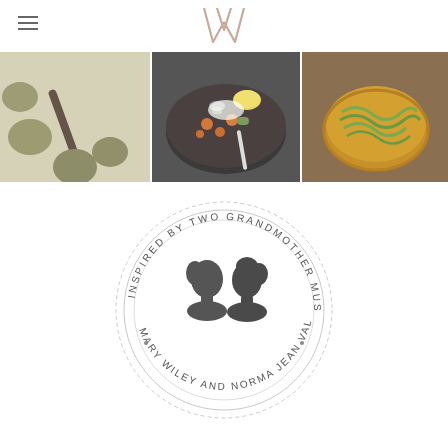[Figure (logo): Stylized W letter logo in rose gold/pink, navigation header with hamburger menu icon on left]
[Figure (photo): Three food photographs in a horizontal strip: left shows dough balls on parchment with a rolling pin, center shows a bowl of mixed vegetables with lemon being stirred, right shows a pasta dish in a yellow bowl]
[Figure (logo): Circular stamp/badge logo with text 'INSPIRED BY TWO GRANDMOTHER MUSES' around the top arc and 'MARY WILEY AND NORMA JEAN VALENTINE' around the bottom arc, with two silhouetted head profiles in the center]